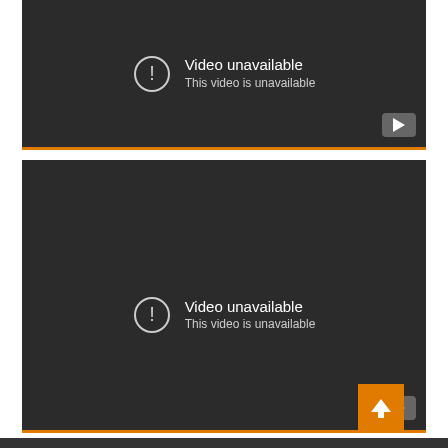[Figure (screenshot): YouTube video embed showing 'Video unavailable - This video is unavailable' error message with dark background and orange bottom border. YouTube icon in bottom right corner.]
[Figure (screenshot): YouTube video embed showing 'Video unavailable - This video is unavailable' error message with dark background and orange bottom border. YouTube icon in bottom right corner. Back to top arrow button (orange) visible in bottom right.]